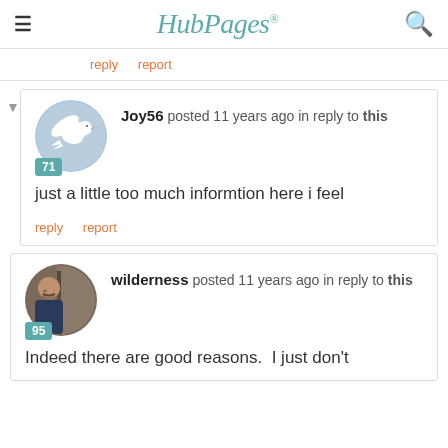HubPages
reply   report
Joy56 posted 11 years ago in reply to this
just a little too much informtion here i feel
reply   report
wilderness posted 11 years ago in reply to this
Indeed there are good reasons.  I just don't